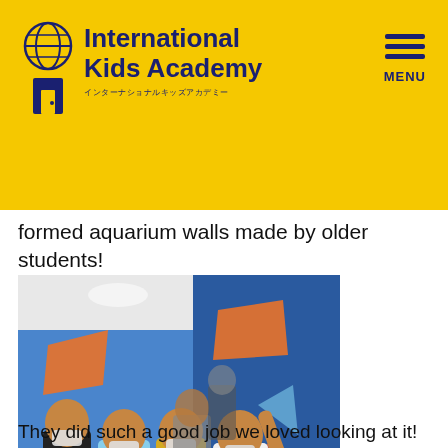[Figure (logo): International Kids Academy logo with globe icon, door/building icon, bold navy text 'International Kids Academy' and Japanese subtitle, on yellow background. Menu hamburger icon top right.]
formed aquarium walls made by older students!
[Figure (photo): Children wearing masks looking at blue aquarium-themed walls decorated with colorful sea creature cutouts, inside a school hallway. A banner at the bottom shows International Kids Academy logo and phone number 052-858-3933.]
They did such a good job we loved looking at it!